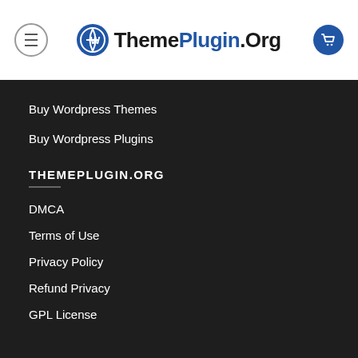[Figure (logo): ThemePlugin.Org logo with WordPress icon, menu hamburger button on left, shopping cart button on right]
Buy Wordpress Themes
Buy Wordpress Plugins
THEMEPLUGIN.ORG
DMCA
Terms of Use
Privacy Policy
Refund Privacy
GPL License